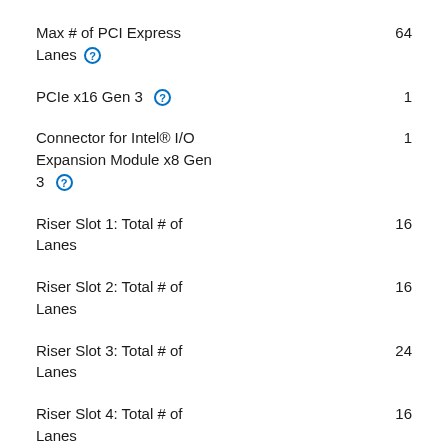Max # of PCI Express Lanes  64
PCIe x16 Gen 3  1
Connector for Intel® I/O Expansion Module x8 Gen 3  1
Riser Slot 1: Total # of Lanes  16
Riser Slot 2: Total # of Lanes  16
Riser Slot 3: Total # of Lanes  24
Riser Slot 4: Total # of Lanes  16